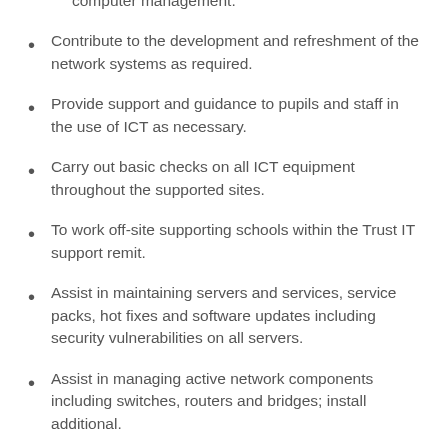computer management.
Contribute to the development and refreshment of the network systems as required.
Provide support and guidance to pupils and staff in the use of ICT as necessary.
Carry out basic checks on all ICT equipment throughout the supported sites.
To work off-site supporting schools within the Trust IT support remit.
Assist in maintaining servers and services, service packs, hot fixes and software updates including security vulnerabilities on all servers.
Assist in managing active network components including switches, routers and bridges; install additional.